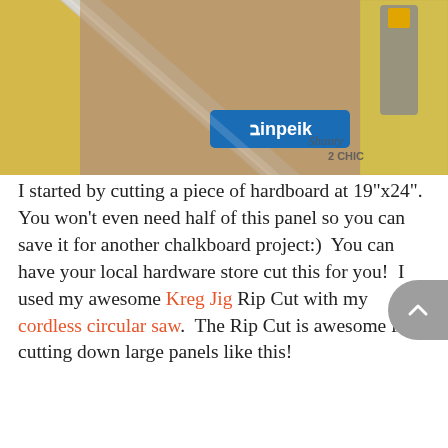[Figure (photo): Photo of workshop tools on a table surface — includes a Kreg Jig in blue, a metal ruler/straight-edge, yellow wood panels, and patterned material with a Shanty 2 Chic watermark in the upper right corner.]
I started by cutting a piece of hardboard at 19"x24".  You won't even need half of this panel so you can save it for another chalkboard project:)  You can have your local hardware store cut this for you!  I used my awesome Kreg Jig Rip Cut with my cordless circular saw.  The Rip Cut is awesome for cutting down large panels like this!